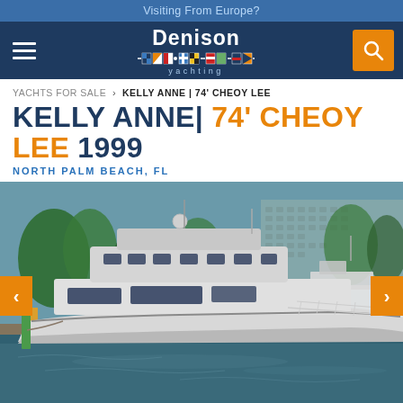Visiting From Europe?
[Figure (logo): Denison Yachting logo with nautical flag symbols and hamburger menu and search icon]
YACHTS FOR SALE > KELLY ANNE | 74' CHEOY LEE
KELLY ANNE | 74' CHEOY LEE 1999
NORTH PALM BEACH, FL
[Figure (photo): A large white motor yacht named Kelly Anne (74' Cheoy Lee, 1999) docked at a marina in North Palm Beach, FL. Other yachts visible in background, hotel building and palm trees visible.]